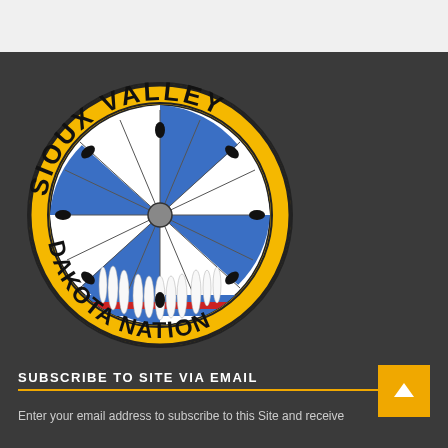[Figure (logo): Sioux Valley Dakota Nation circular logo with yellow background, blue and white radial segments, arrows, feathers, red and blue stripes, and text 'SIOUX VALLEY' on top arc and 'DAKOTA NATION' on bottom arc]
SUBSCRIBE TO SITE VIA EMAIL
Enter your email address to subscribe to this Site and receive